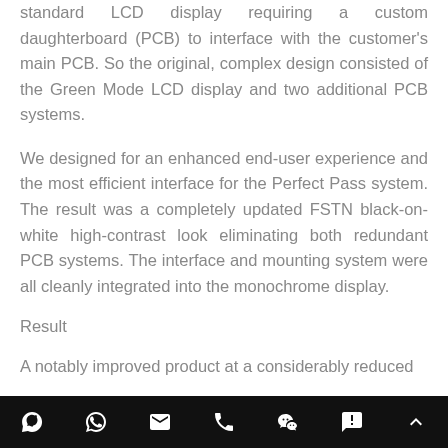standard LCD display requiring a custom daughterboard (PCB) to interface with the customer's main PCB. So the original, complex design consisted of the Green Mode LCD display and two additional PCB systems.
We designed for an enhanced end-user experience and the most efficient interface for the Perfect Pass system. The result was a completely updated FSTN black-on-white high-contrast look eliminating both redundant PCB systems. The interface and mounting system were all cleanly integrated into the monochrome display.
Result
A notably improved product at a considerably reduced
social icons: Skype, WhatsApp, Email, Phone, WeChat, Chat, Up